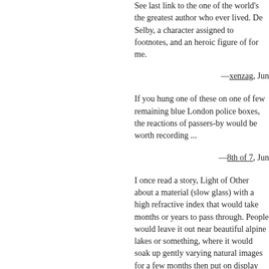See last link to the one of the wo... the greatest author who ever live... De Selby, a character assigned t... footnotes, and an heroic figure o... for me.
—xenzag, Jun
If you hung one of these on one ... few remaining blue London polic... boxes, the reactions of passers-b... would be worth recording ...
—8th of 7, Jun
I once read a story, Light of Othe... about a material (slow glass) with... high refractive index that would t... months or years to pass through... People would leave it out near be... alpine lakes or something, where... would soak up gently varying nat... images for a few months then pu... display where they lived. A lamin... these could make a moire of a co... more intervals of the past superin... on each other.
Also, there is a fun and nifty vide... girl going from less than a year o...